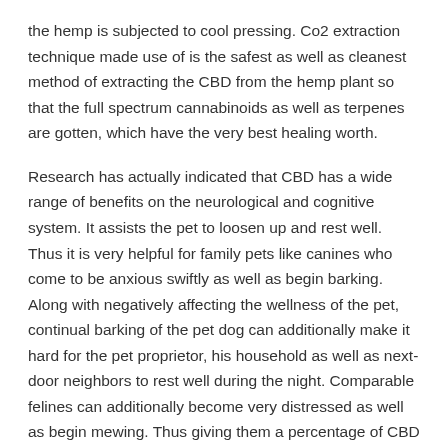the hemp is subjected to cool pressing. Co2 extraction technique made use of is the safest as well as cleanest method of extracting the CBD from the hemp plant so that the full spectrum cannabinoids as well as terpenes are gotten, which have the very best healing worth.
Research has actually indicated that CBD has a wide range of benefits on the neurological and cognitive system. It assists the pet to loosen up and rest well. Thus it is very helpful for family pets like canines who come to be anxious swiftly as well as begin barking. Along with negatively affecting the wellness of the pet, continual barking of the pet dog can additionally make it hard for the pet proprietor, his household as well as next-door neighbors to rest well during the night. Comparable felines can additionally become very distressed as well as begin mewing. Thus giving them a percentage of CBD oil, will certainly help them relax.